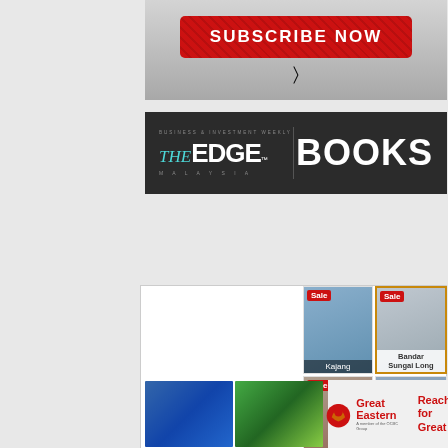[Figure (screenshot): Subscribe Now red button with cursor icon on grey gradient background]
[Figure (logo): The Edge Malaysia Books banner - dark background with Edge logo and BOOKS text]
[Figure (screenshot): Property listings grid showing 6 sale properties: Kajang, Bandar Sungai Long, Semenyih, Kajang, Semenyih, Titiwangsa]
[Figure (photo): Two photos at bottom left: person jumping over rooftop and person in garden]
[Figure (logo): Great Eastern insurance logo with Reach for Great tagline]